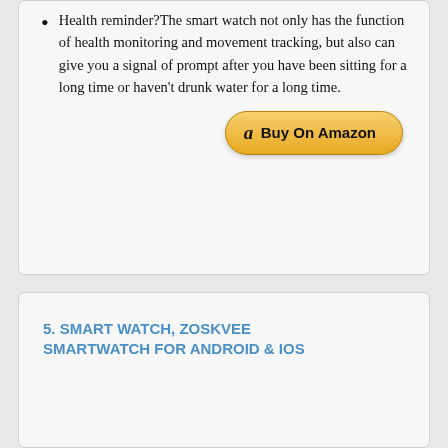Health reminder?The smart watch not only has the function of health monitoring and movement tracking, but also can give you a signal of prompt after you have been sitting for a long time or haven't drunk water for a long time.
[Figure (other): Amazon Buy On Amazon button]
5. SMART WATCH, ZOSKVEE SMARTWATCH FOR ANDROID & IOS